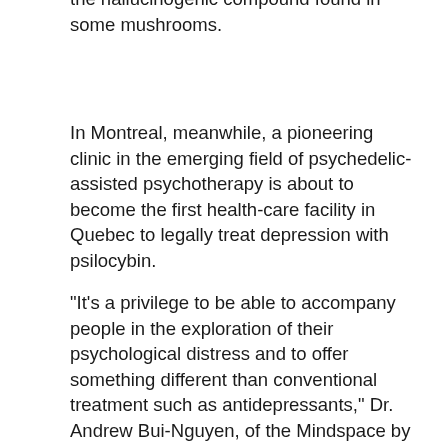the hallucinogenic compound found in some mushrooms.
In Montreal, meanwhile, a pioneering clinic in the emerging field of psychedelic-assisted psychotherapy is about to become the first health-care facility in Quebec to legally treat depression with psilocybin.
"It's a privilege to be able to accompany people in the exploration of their psychological distress and to offer something different than conventional treatment such as antidepressants," Dr. Andrew Bui-Nguyen, of the Mindspace by Numinus clinic, said in a recent interview.
Bui-Nguyen said his clinic received Health